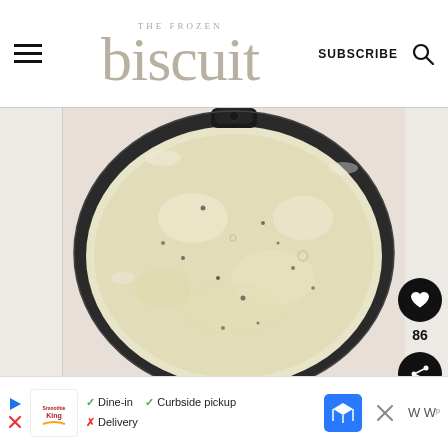THE FROZEN biscuit – SUBSCRIBE
[Figure (photo): Overhead view of a cast iron skillet filled with creamy white gravy with black pepper flecks]
[Figure (other): Social media sidebar icons: heart button with count 86, share button]
[Figure (other): Advertisement banner for Smoothie King showing Dine-in, Curbside pickup, Delivery options with map icon]